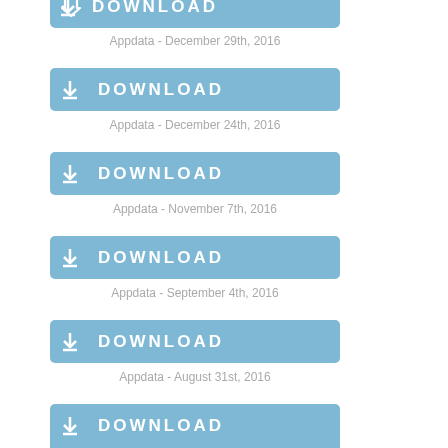[Figure (screenshot): DOWNLOAD button (blue) - partially visible at top]
Appdata - December 29th, 2016
[Figure (screenshot): DOWNLOAD button (blue)]
Appdata - December 24th, 2016
[Figure (screenshot): DOWNLOAD button (blue)]
Appdata - November 7th, 2016
[Figure (screenshot): DOWNLOAD button (blue)]
Appdata - September 4th, 2016
[Figure (screenshot): DOWNLOAD button (blue)]
Appdata - August 31st, 2016
[Figure (screenshot): DOWNLOAD button (blue) - partially visible at bottom]